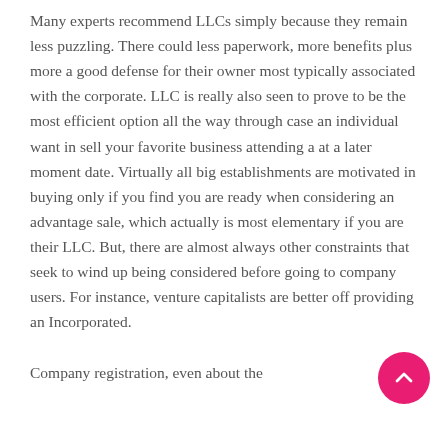Many experts recommend LLCs simply because they remain less puzzling. There could less paperwork, more benefits plus more a good defense for their owner most typically associated with the corporate. LLC is really also seen to prove to be the most efficient option all the way through case an individual want in sell your favorite business attending a at a later moment date. Virtually all big establishments are motivated in buying only if you find you are ready when considering an advantage sale, which actually is most elementary if you are their LLC. But, there are almost always other constraints that seek to wind up being considered before going to company users. For instance, venture capitalists are better off providing an Incorporated.

Company registration, even about the